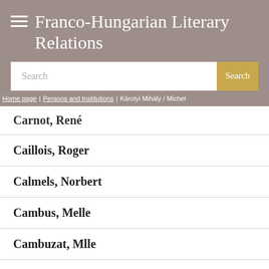Franco-Hungarian Literary Relations
Search
Home page / Persons and Institutions / Károlyi Mihály / Michel
Carnot, René
Caillois, Roger
Calmels, Norbert
Cambus, Melle
Cambuzat, Mlle